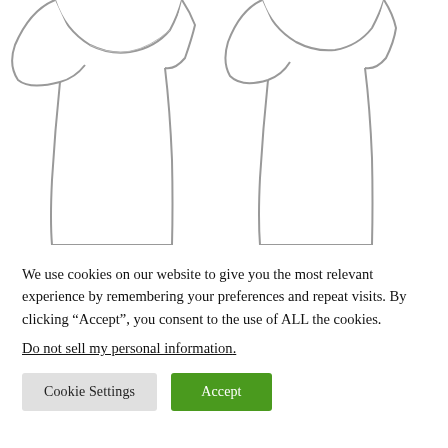[Figure (illustration): Outline/line-art illustration of two t-shirts (front and back views), shown as white garments with gray outlines, upper portion of shirts visible, cropped at hem.]
We use cookies on our website to give you the most relevant experience by remembering your preferences and repeat visits. By clicking “Accept”, you consent to the use of ALL the cookies.
Do not sell my personal information.
Cookie Settings
Accept